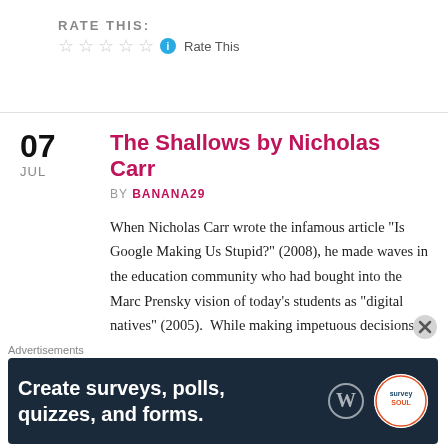RATE THIS:
[Figure (other): Five empty star rating icons with info icon and Rate This text]
The Shallows by Nicholas Carr
BY BANANA29
When Nicholas Carr wrote the infamous article “Is Google Making Us Stupid?” (2008), he made waves in the education community who had bought into the Marc Prensky vision of today’s students as “digital natives” (2005).  While making impetuous decisions
Advertisements
[Figure (screenshot): Advertisement banner: Create surveys, polls, quizzes, and forms. Dark navy background with WordPress logo and circular survey icon.]